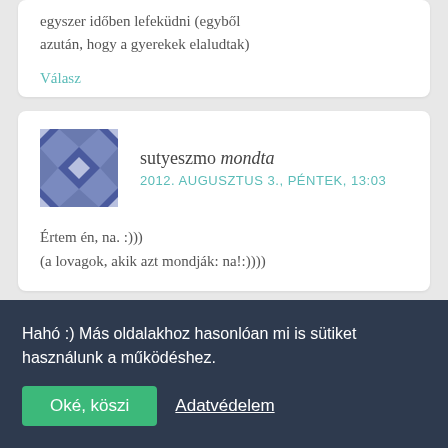egyszer időben lefeküdni (egyből azután, hogy a gyerekek elaludtak)
Válasz
sutyeszmo mondta
2012. AUGUSZTUS 3., PÉNTEK, 13:03
Értem én, na. :)))
(a lovagok, akik azt mondják: na!:))))
Hahó :) Más oldalakhoz hasonlóan mi is sütiket használunk a működéshez.
Oké, köszi
Adatvédelem